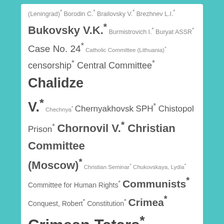(Leningrad)* Borodin C.* Brailovsky V.* Brezhnev L.I.* Bukovsky V.K.* Burmistrovich I.* Buryat ASSR* Case No. 24* Catholic Committee (Lithuania)* censorship* Central Committee* Chalidze V.* Chechnya* Chernyakhovsk SPH* Chistopol Prison* Chornovil V.* Christian Committee (Moscow)* Christian Seminar* Chukovskaya, Lydia* Committee for Human Rights* Communists* Conquest, Robert* Constitution* Crimea* Crimean Tatars* Criminal charges* Czechoslovakia Dandaron B.* Daniel A. Yu.* Daniel Yu.M.* Davidovich Ye.* Davydov G.* Delaunay V.* Disabled Action Group* DMSU* Dnepropetrovsk SPH*